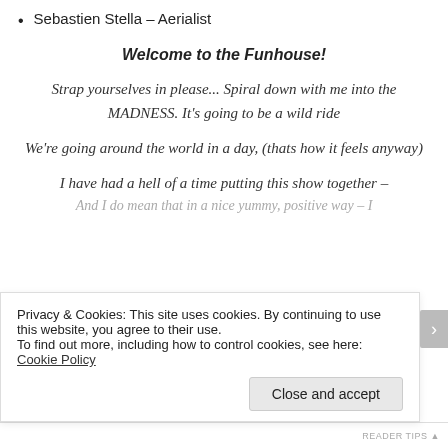Sebastien Stella – Aerialist
Welcome to the Funhouse!
Strap yourselves in please... Spiral down with me into the MADNESS. It's going to be a wild ride
We're going around the world in a day, (thats how it feels anyway)
I have had a hell of a time putting this show together –
And I do mean that in a nice yummy, positive way – I
Privacy & Cookies: This site uses cookies. By continuing to use this website, you agree to their use.
To find out more, including how to control cookies, see here: Cookie Policy